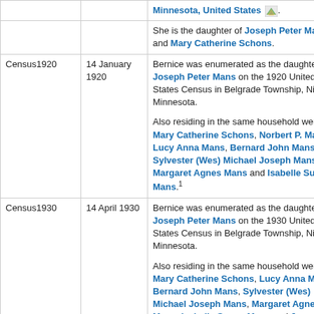| Event | Date | Description |
| --- | --- | --- |
|  |  | Minnesota, United States [map icon]. |
|  |  | She is the daughter of Joseph Peter Mans and Mary Catherine Schons. |
| Census1920 | 14 January 1920 | Bernice was enumerated as the daughter of Joseph Peter Mans on the 1920 United States Census in Belgrade Township, Nicollet, Minnesota.

Also residing in the same household were Mary Catherine Schons, Norbert P. Mans, Lucy Anna Mans, Bernard John Mans, Sylvester (Wes) Michael Joseph Mans, Margaret Agnes Mans and Isabelle Susan Mans.1 |
| Census1930 | 14 April 1930 | Bernice was enumerated as the daughter of Joseph Peter Mans on the 1930 United States Census in Belgrade Township, Nicollet, Minnesota.

Also residing in the same household were Mary Catherine Schons, Lucy Anna Mans, Bernard John Mans, Sylvester (Wes) Michael Joseph Mans, Margaret Agnes Mans, Isabelle Susan Mans and Joseph Peter Mans.2 |
| Marriage | circa 1942 | Bernice Clara Mans married Carroll Hendley Thurston, son of Roy J. Thurston and Florence Gertrude Hendley, circa 1942, Minnesota, United States. |